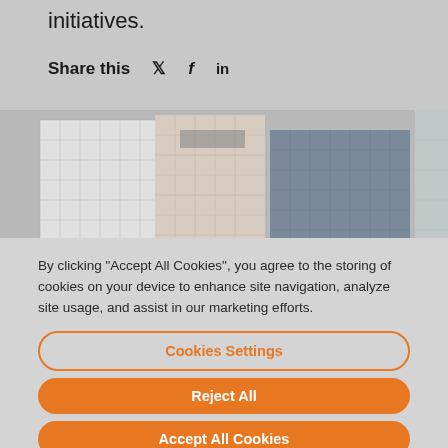initiatives.
Share this
[Figure (photo): Photo of tall urban buildings/skyscrapers viewed from below against a grey sky]
By clicking “Accept All Cookies”, you agree to the storing of cookies on your device to enhance site navigation, analyze site usage, and assist in our marketing efforts.
Cookies Settings
Reject All
Accept All Cookies